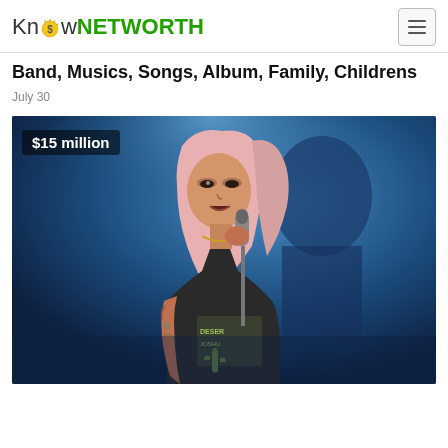Know NETWORTH
Band, Musics, Songs, Album, Family, Childrens
July 30
[Figure (photo): Female singer with pink hair performing on stage, holding a microphone, wearing a sleeveless graphic tee with tattoos visible. Text overlay reads '$15 million'.]